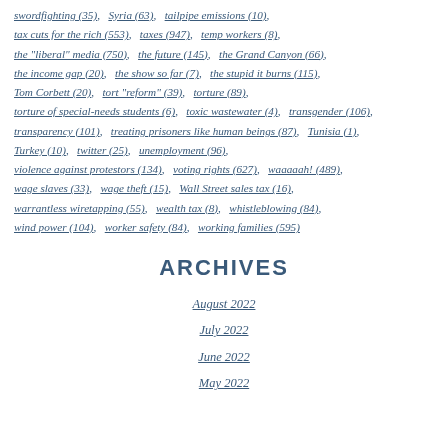swordfighting (35),  Syria (63),  tailpipe emissions (10),
tax cuts for the rich (553),  taxes (947),  temp workers (8),
the "liberal" media (750),  the future (145),  the Grand Canyon (66),
the income gap (20),  the show so far (7),  the stupid it burns (115),
Tom Corbett (20),  tort "reform" (39),  torture (89),
torture of special-needs students (6),  toxic wastewater (4),  transgender (106),
transparency (101),  treating prisoners like human beings (87),  Tunisia (1),
Turkey (10),  twitter (25),  unemployment (96),
violence against protestors (134),  voting rights (627),  waaaaah! (489),
wage slaves (33),  wage theft (15),  Wall Street sales tax (16),
warrantless wiretapping (55),  wealth tax (8),  whistleblowing (84),
wind power (104),  worker safety (84),  working families (595)
ARCHIVES
August 2022
July 2022
June 2022
May 2022